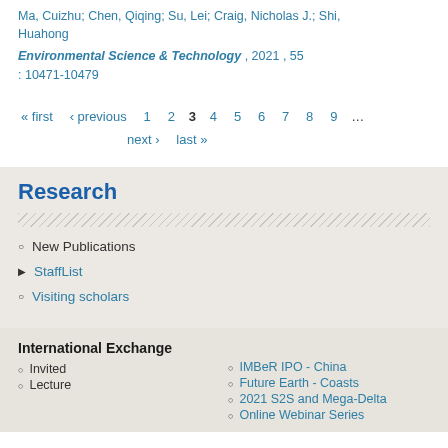Ma, Cuizhu; Chen, Qiqing; Su, Lei; Craig, Nicholas J.; Shi, Huahong
Environmental Science & Technology , 2021 , 55 : 10471-10479
« first ‹ previous 1 2 3 4 5 6 7 8 9 … next › last »
Research
New Publications
StaffList
Visiting scholars
International Exchange
Invited Lecture
IMBeR IPO - China
Future Earth - Coasts
2021 S2S and Mega-Delta Online Webinar Series